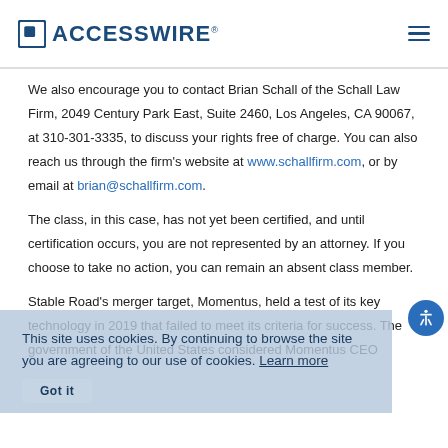ACCESSWIRE
We also encourage you to contact Brian Schall of the Schall Law Firm, 2049 Century Park East, Suite 2460, Los Angeles, CA 90067, at 310-301-3335, to discuss your rights free of charge. You can also reach us through the firm's website at www.schallfirm.com, or by email at brian@schallfirm.com.
The class, in this case, has not yet been certified, and until certification occurs, you are not represented by an attorney. If you choose to take no action, you can remain an absent class member.
Stable Road's merger target, Momentus, held a test of its key technology in 2019 that failed to meet its criteria for success. The government of the United States considered Momentus CEO
This site uses cookies. By continuing to browse the site you are agreeing to our use of cookies. Learn more